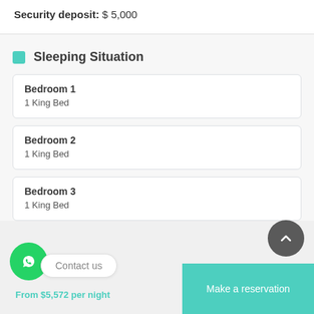Security deposit: $ 5,000
Sleeping Situation
Bedroom 1
1 King Bed
Bedroom 2
1 King Bed
Bedroom 3
1 King Bed
Contact us
From $5,572 per night
Make a reservation